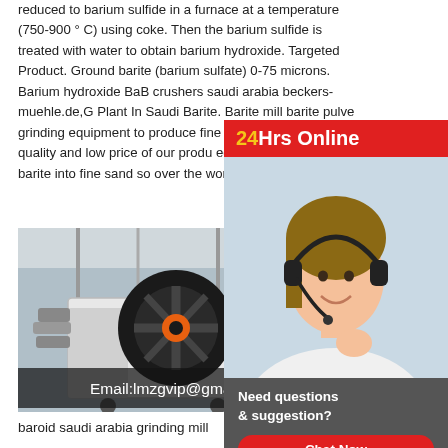reduced to barium sulfide in a furnace at a temperature (750-900 ° C) using coke. Then the barium sulfide is treated with water to obtain barium hydroxide. Targeted Product. Ground barite (barium sulfate) 0-75 microns. Barium hydroxide BaB crushers saudi arabia beckers-muehle.de,G Plant In Saudi Barite. Barite mill barite pulve grinding equipment to produce fine and ultra to the high quality and low price of our produ equipment for milling barite into fine sand so over the world especially in
[Figure (photo): Customer service agent with headset, with red '24Hrs Online' badge and dark chat box with 'Need questions & suggestion?' text and red 'Chat Now' button]
[Figure (photo): Industrial grinding mill machine in a factory, with email overlay reading 'Email:lmzgvip@gmail.com']
baroid saudi arabia grinding mill